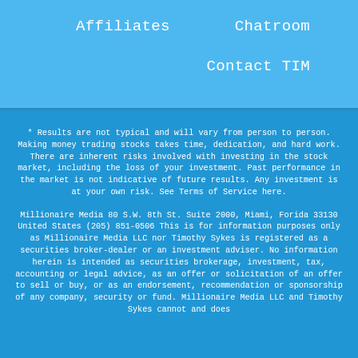Affiliates    Chatroom    Contact TIM
* Results are not typical and will vary from person to person. Making money trading stocks takes time, dedication, and hard work. There are inherent risks involved with investing in the stock market, including the loss of your investment. Past performance in the market is not indicative of future results. Any investment is at your own risk. See Terms of Service here.
Millionaire Media 80 S.W. 8th St. Suite 2000, Miami, Forida 33130 United States (205) 851-0506 This is for information purposes only as Millionaire Media LLC nor Timothy Sykes is registered as a securities broker-dealer or an investment adviser. No information herein is intended as securities brokerage, investment, tax, accounting or legal advice, as an offer or solicitation of an offer to sell or buy, or as an endorsement, recommendation or sponsorship of any company, security or fund. Millionaire Media LLC and Timothy Sykes cannot and does